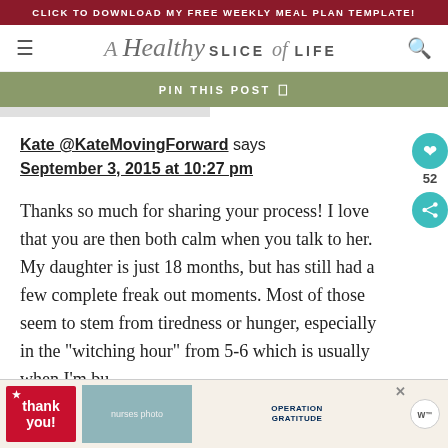CLICK TO DOWNLOAD MY FREE WEEKLY MEAL PLAN TEMPLATE!
[Figure (logo): A Healthy Slice of LIFE blog logo with hamburger menu and search icon]
PIN THIS POST
Kate @KateMovingForward says
September 3, 2015 at 10:27 pm
Thanks so much for sharing your process! I love that you are then both calm when you talk to her. My daughter is just 18 months, but has still had a few complete freak out moments. Most of those seem to stem from tiredness or hunger, especially in the "witching hour" from 5-6 which is usually when I'm bu...
[Figure (photo): Operation Gratitude advertisement with thank you card and nurses photo]